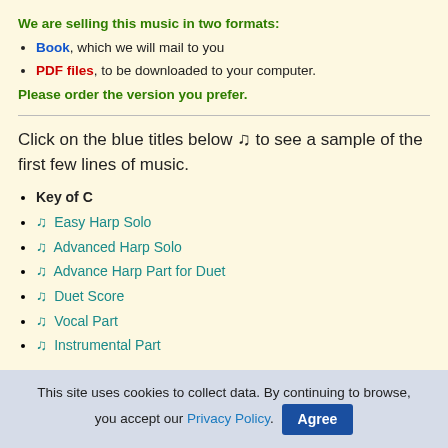We are selling this music in two formats:
Book, which we will mail to you
PDF files, to be downloaded to your computer.
Please order the version you prefer.
Click on the blue titles below ♪ to see a sample of the first few lines of music.
Key of C
Easy Harp Solo
Advanced Harp Solo
Advance Harp Part for Duet
Duet Score
Vocal Part
Instrumental Part
Key of G
This site uses cookies to collect data. By continuing to browse, you accept our Privacy Policy. Agree